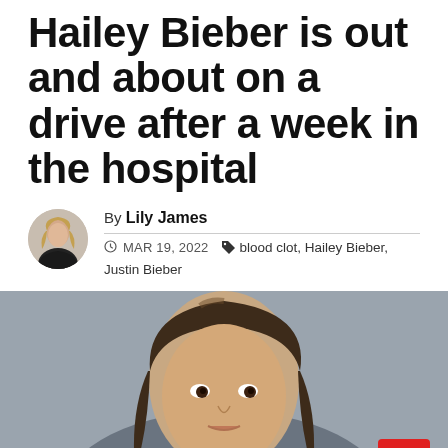Hailey Bieber is out and about on a drive after a week in the hospital
By Lily James
MAR 19, 2022
blood clot, Hailey Bieber, Justin Bieber
[Figure (photo): Close-up portrait photo of a young woman with long dark hair, looking towards camera, gray background]